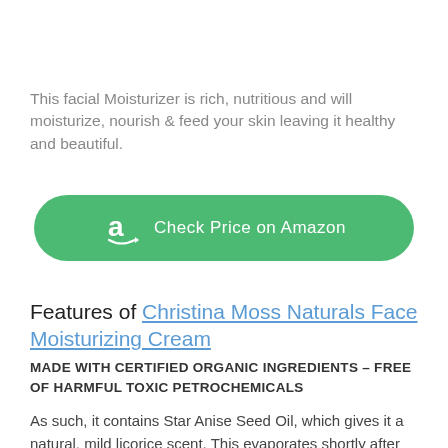This facial Moisturizer is rich, nutritious and will moisturize, nourish & feed your skin leaving it healthy and beautiful.
[Figure (other): Green rounded button with Amazon logo icon on the left and text 'Check Price on Amazon' in white]
Features of Christina Moss Naturals Face Moisturizing Cream
MADE WITH CERTIFIED ORGANIC INGREDIENTS – FREE OF HARMFUL TOXIC PETROCHEMICALS
As such, it contains Star Anise Seed Oil, which gives it a natural, mild licorice scent. This evaporates shortly after application.